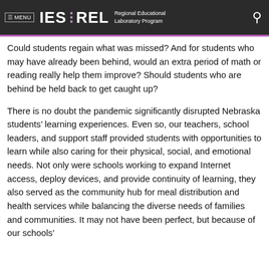MENU  IES · REL  Regional Educational Laboratory Program
Could students regain what was missed? And for students who may have already been behind, would an extra period of math or reading really help them improve? Should students who are behind be held back to get caught up?
There is no doubt the pandemic significantly disrupted Nebraska students' learning experiences. Even so, our teachers, school leaders, and support staff provided students with opportunities to learn while also caring for their physical, social, and emotional needs. Not only were schools working to expand Internet access, deploy devices, and provide continuity of learning, they also served as the community hub for meal distribution and health services while balancing the diverse needs of families and communities. It may not have been perfect, but because of our schools'